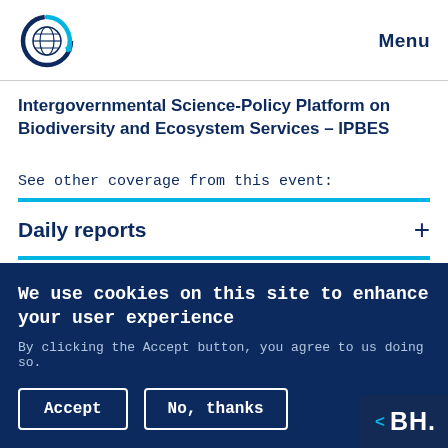[Figure (logo): IPBES globe logo — circular icon with globe and circular arrows in dark blue and cyan]
Menu
Intergovernmental Science-Policy Platform on Biodiversity and Ecosystem Services – IPBES
See other coverage from this event:
Daily reports
We use cookies on this site to enhance your user experience
By clicking the Accept button, you agree to us doing so.